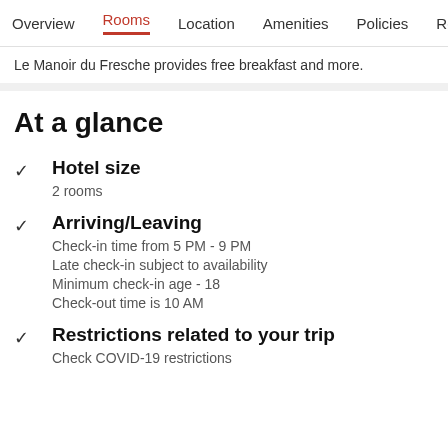Overview  Rooms  Location  Amenities  Policies  Reviews
Le Manoir du Fresche provides free breakfast and more.
At a glance
Hotel size
2 rooms
Arriving/Leaving
Check-in time from 5 PM - 9 PM
Late check-in subject to availability
Minimum check-in age - 18
Check-out time is 10 AM
Restrictions related to your trip
Check COVID-19 restrictions